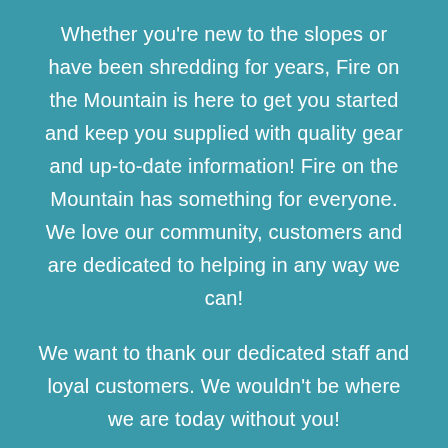Whether you're new to the slopes or have been shredding for years, Fire on the Mountain is here to get you started and keep you supplied with quality gear and up-to-date information!  Fire on the Mountain has something for everyone. We love our community, customers and are dedicated to helping in any way we can!
We want to thank our dedicated staff and loyal customers. We wouldn't be where we are today without you!
Fire on the Mountain is now